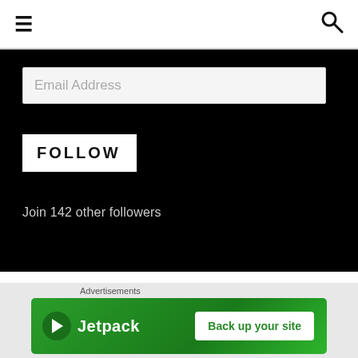≡   🔍
Email Address
FOLLOW
Join 142 other followers
ADMIN
Register
Log in
Entries feed
Comments feed
Advertisements
[Figure (infographic): Jetpack advertisement banner with logo and 'Back up your site' button on green background]